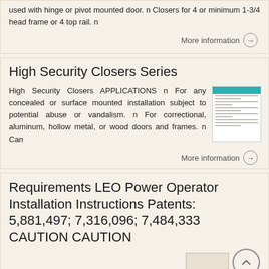used with hinge or pivot mounted door. n Closers for 4 or minimum 1-3/4 head frame or 4 top rail. n
More information →
High Security Closers Series
High Security Closers APPLICATIONS n For any concealed or surface mounted installation subject to potential abuse or vandalism. n For correctional, aluminum, hollow metal, or wood doors and frames. n Can
[Figure (photo): Thumbnail image of a document with teal header bar and text lines]
More information →
Requirements LEO Power Operator Installation Instructions Patents: 5,881,497; 7,316,096; 7,484,333 CAUTION CAUTION
CAUTION 80-957-00-00 (08-0) Series 570